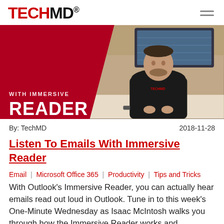TECHMD®
[Figure (photo): Hero image showing a TechMD branded banner with the text 'WITH IMMERSIVE READER' above 'READER' in large white bold letters on a dark red background, with a man in a black TechMD polo shirt standing in front of office displays on the right side.]
By: TechMD    2018-11-28
Listen To Emails With Immersive Reader
Email  |  Microsoft Office 365  |  Productivity  |  Tips and Tricks
With Outlook's Immersive Reader, you can actually hear emails read out loud in Outlook. Tune in to this week's One-Minute Wednesday as Isaac McIntosh walks you through how the Immersive Reader works and showcases some